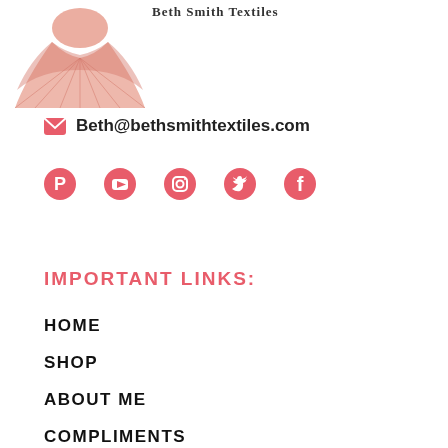[Figure (logo): Beth Smith Textiles logo with a pink/salmon pleated dress illustration and brand name text]
Beth@bethsmithtextiles.com
[Figure (infographic): Social media icons row: Pinterest, YouTube, Instagram, Twitter, Facebook — all in coral/pink color]
IMPORTANT LINKS:
HOME
SHOP
ABOUT ME
COMPLIMENTS